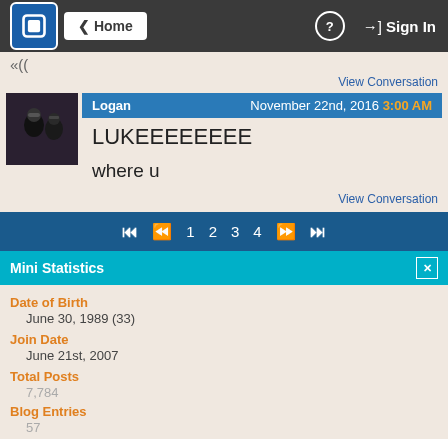Home | ? | Sign In
«((
View Conversation
Logan   November 22nd, 2016  3:00 AM
LUKEEEEEEEE

where u
View Conversation
⏮ ⏪ 1 2 3 4 ⏩ ⏭
Mini Statistics
Date of Birth
June 30, 1989 (33)
Join Date
June 21st, 2007
Total Posts
7,784
Blog Entries
57